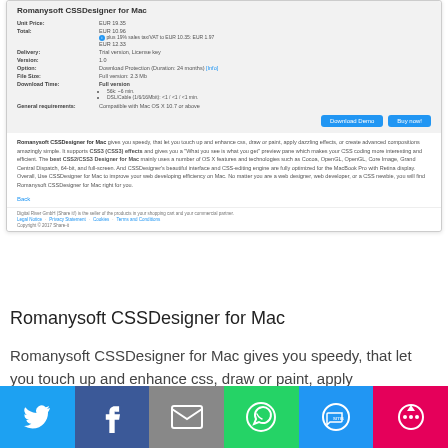[Figure (screenshot): Product page screenshot for Romanysoft CSSDesigner for Mac showing price details, delivery info, download buttons, and product description]
Romanysoft CSSDesigner for Mac
Romanysoft CSSDesigner for Mac gives you speedy, that let you touch up and enhance css, draw or paint, apply
[Figure (infographic): Social sharing bar with Twitter, Facebook, Email, WhatsApp, SMS, and Share buttons]